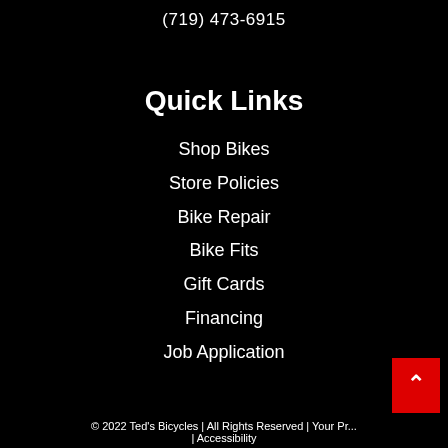(719) 473-6915
Quick Links
Shop Bikes
Store Policies
Bike Repair
Bike Fits
Gift Cards
Financing
Job Application
© 2022 Ted's Bicycles | All Rights Reserved | Your Pr... | Accessibility